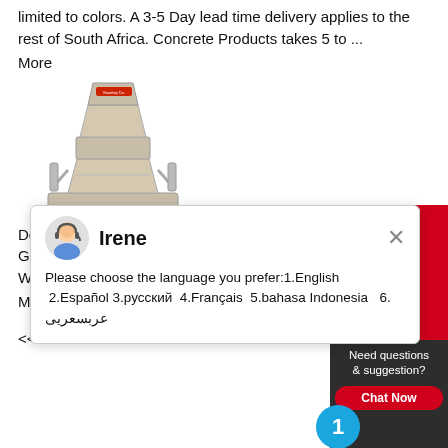limited to colors. A 3-5 Day lead time delivery applies to the rest of South Africa. Concrete Products takes 5 to ...
More
[Figure (photo): Industrial cone crusher machine, beige/cream colored, on wheels]
[Figure (screenshot): Chat popup with avatar of Irene. Message: Please choose the language you prefer:1.English 2.Español 3.русский 4.Français 5.bahasa Indonesia 6. عربسعريى]
Decorative polished pebble, crushed stone chips,Aquarium Gravel,white pebble. Total Below US$1 Million. Top 3 Markets: West Southern Europe 25% ,
More
<< Previous:Calcium Carbonate Definitio